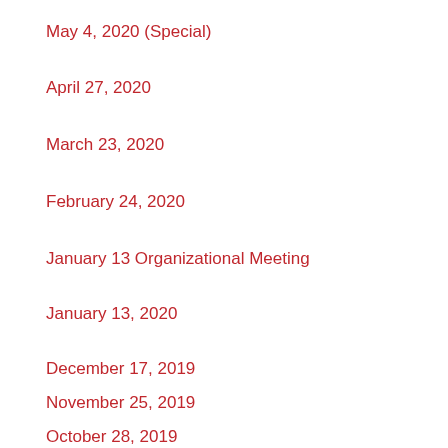May 4, 2020 (Special)
April 27, 2020
March 23, 2020
February 24, 2020
January 13 Organizational Meeting
January 13, 2020
December 17, 2019
November 25, 2019
October 28, 2019